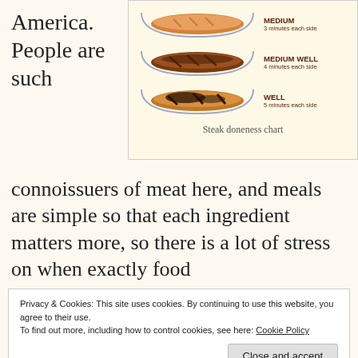America. People are such
[Figure (infographic): Steak doneness chart showing three steaks in bowl-shaped pans: Medium (3 minutes each side), Medium Well (4 minutes each side), Well (5 minutes each side)]
Steak doneness chart
connoissuers of meat here, and meals are simple so that each ingredient matters more, so there is a lot of stress on when exactly food
Privacy & Cookies: This site uses cookies. By continuing to use this website, you agree to their use.
To find out more, including how to control cookies, see here: Cookie Policy
Close and accept
while cooking until I came to America